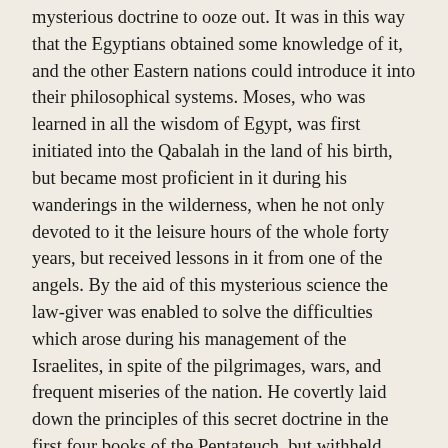mysterious doctrine to ooze out. It was in this way that the Egyptians obtained some knowledge of it, and the other Eastern nations could introduce it into their philosophical systems. Moses, who was learned in all the wisdom of Egypt, was first initiated into the Qabalah in the land of his birth, but became most proficient in it during his wanderings in the wilderness, when he not only devoted to it the leisure hours of the whole forty years, but received lessons in it from one of the angels. By the aid of this mysterious science the law-giver was enabled to solve the difficulties which arose during his management of the Israelites, in spite of the pilgrimages, wars, and frequent miseries of the nation. He covertly laid down the principles of this secret doctrine in the first four books of the Pentateuch, but withheld them from Deuteronomy. Moses also initiated the seventy elders into the secrets of this doctrine, and they again transmitted them from hand to hand." 37.